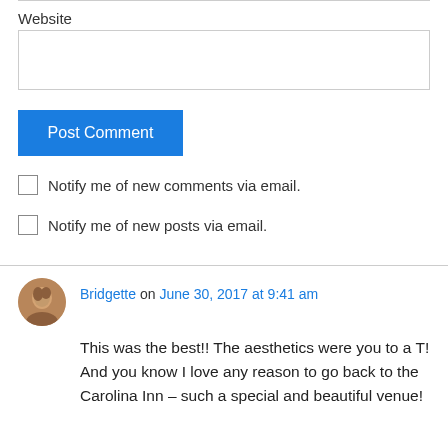Website
Post Comment
Notify me of new comments via email.
Notify me of new posts via email.
Bridgette on June 30, 2017 at 9:41 am
This was the best!! The aesthetics were you to a T! And you know I love any reason to go back to the Carolina Inn – such a special and beautiful venue!